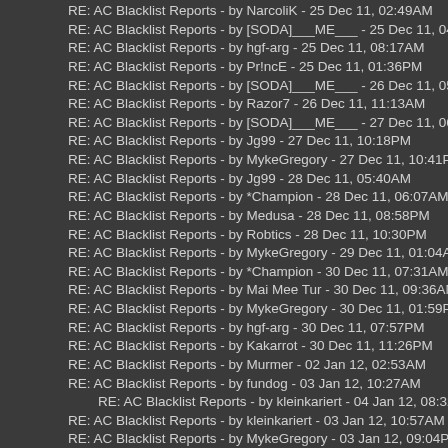RE: AC Blacklist Reports - by NarcoliK - 25 Dec 11, 02:49AM
RE: AC Blacklist Reports - by [SODA]___ME___ - 25 Dec 11, 04:03AM
RE: AC Blacklist Reports - by hgf-arg - 25 Dec 11, 08:17AM
RE: AC Blacklist Reports - by Pr!ncE - 25 Dec 11, 01:36PM
RE: AC Blacklist Reports - by [SODA]___ME___ - 26 Dec 11, 05:44AM
RE: AC Blacklist Reports - by Razor7 - 26 Dec 11, 11:13AM
RE: AC Blacklist Reports - by [SODA]___ME___ - 27 Dec 11, 06:03AM
RE: AC Blacklist Reports - by Jg99 - 27 Dec 11, 10:18PM
RE: AC Blacklist Reports - by MykeGregory - 27 Dec 11, 10:41PM
RE: AC Blacklist Reports - by Jg99 - 28 Dec 11, 05:40AM
RE: AC Blacklist Reports - by *Champion - 28 Dec 11, 06:07AM
RE: AC Blacklist Reports - by Medusa - 28 Dec 11, 08:58PM
RE: AC Blacklist Reports - by Robtics - 28 Dec 11, 10:30PM
RE: AC Blacklist Reports - by MykeGregory - 29 Dec 11, 01:04AM
RE: AC Blacklist Reports - by *Champion - 30 Dec 11, 07:31AM
RE: AC Blacklist Reports - by Mai Mee Tur - 30 Dec 11, 09:36AM
RE: AC Blacklist Reports - by MykeGregory - 30 Dec 11, 01:59PM
RE: AC Blacklist Reports - by hgf-arg - 30 Dec 11, 07:57PM
RE: AC Blacklist Reports - by Kakarrot - 30 Dec 11, 11:26PM
RE: AC Blacklist Reports - by Murmer - 02 Jan 12, 02:53AM
RE: AC Blacklist Reports - by fundog - 03 Jan 12, 10:27AM
RE: AC Blacklist Reports - by kleinkariert - 04 Jan 12, 08:32AM (indented)
RE: AC Blacklist Reports - by kleinkariert - 03 Jan 12, 10:57AM
RE: AC Blacklist Reports - by MykeGregory - 03 Jan 12, 09:04PM
RE: AC Blacklist Reports - by kleinkariert - 04 Jan 12, 03:53AM